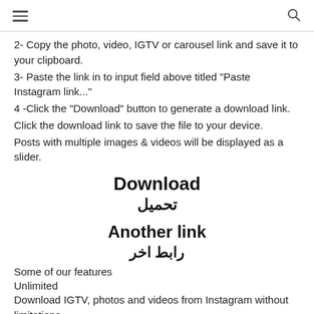hamburger menu | search icon
2- Copy the photo, video, IGTV or carousel link and save it to your clipboard.
3- Paste the link in to input field above titled "Paste Instagram link..."
4 -Click the "Download" button to generate a download link.
Click the download link to save the file to your device.
Posts with multiple images & videos will be displayed as a slider.
Download
تحميل
Another link
رابط اخر
Some of our features
Unlimited
Download IGTV, photos and videos from Instagram without limitations.